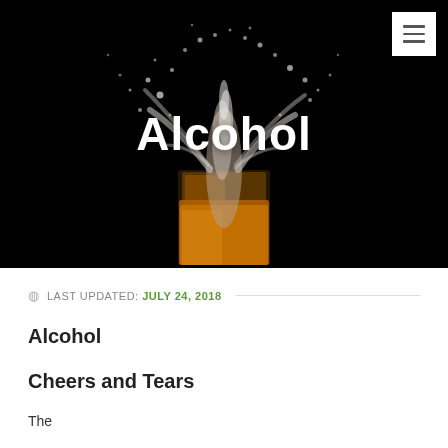[Figure (photo): A glass of whiskey/dark liquid with a dramatic splash of liquid and water droplets against a black background]
Alcohol
LAST UPDATED: JULY 24, 2018
Alcohol
Cheers and Tears
The...